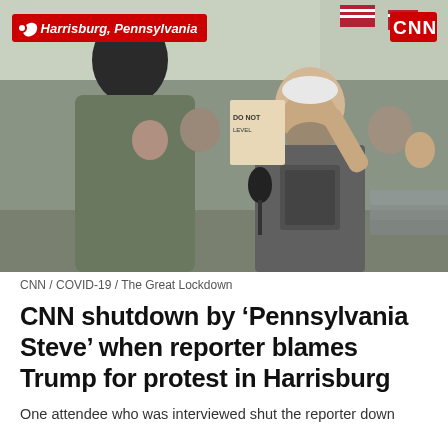[Figure (photo): CNN news footage of a protest in Harrisburg, Pennsylvania. A bearded man in a grey t-shirt is gesturing and appears to be arguing with a reporter (seen from behind). Crowd of protesters with signs and American flags visible in background. Location badge 'Harrisburg, Pennsylvania' in red in upper left, CNN logo in red in upper right.]
CNN / COVID-19 / The Great Lockdown
CNN shutdown by 'Pennsylvania Steve' when reporter blames Trump for protest in Harrisburg
One attendee who was interviewed shut the reporter down